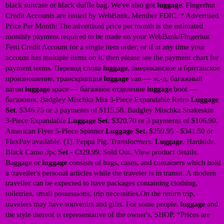black suitcase or black duffle bag. We've also got luggage. Fingerhut Credit Accounts are issued by WebBank, Member FDIC. * Advertised Price Per Month: The advertised price per month is the estimated monthly payment required to be made on your WebBank/Fingerhut Fetti Credit Account for a single item order, or if at any time your account has multiple items on it, then please see the payment chart for payment terms. Перевод слова luggage, американское и британское произношение, транскрипция luggage van — ж.-д. багажный вагон luggage space — багажное отделение luggage boot — багажник. Badgley Mischka Mia 3-Piece Expandable Retro Luggage Set. $346.75 or 3 payments of $115.58. Badgley Mischka Snakeskin 3-Piece Expandable Luggage Set. $320.70 or 3 payments of $106.90. American Flyer 5-Piece Spinner Luggage Set. $259.95 - $341.50 or FlexPay available. (1). Peppa Pig. Transformers. Luggage. Hardside. Black Camo 3pc Set - €329.99. Sold Out. View product details. Baggage or luggage consists of bags, cases, and containers which hold a traveller's personal articles while the traveler is in transit. A modern traveller can be expected to have packages containing clothing, toiletries, small possessions, trip necessities.On the return trip, travelers may have souvenirs and gifts. For some people, luggage and the style thereof is representative of the owner's. SHOP. *Prices are